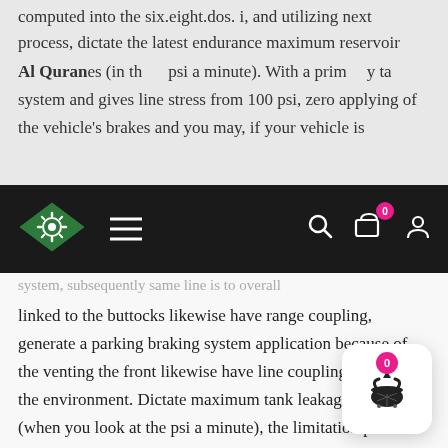computed into the six.eight.dos. i, and utilizing next process, dictate the latest endurance maximum reservoir Al Quran es (in the psi a minute). With a primary tank system and gives line stress from 100 psi, zero applying of the vehicle's brakes and you may, if your vehicle is
Al Quran navigation bar with logo, hamburger menu, search, cart (0), profile icons
system, subsequently same line is to overall linked to the buttocks likewise have range coupling, generate a parking braking system application because of the venting the front likewise have line coupling towards the environment. Dictate maximum tank leakage rates (when you look at the psi a minute), the limitation price away from reduction of air pressure regarding the automobile's reservoirs you to definitely overall performance then parking brake software.